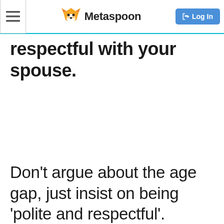Metaspoon | Log In
respectful with your spouse.
Don't argue about the age gap, just insist on being 'polite and respectful'.